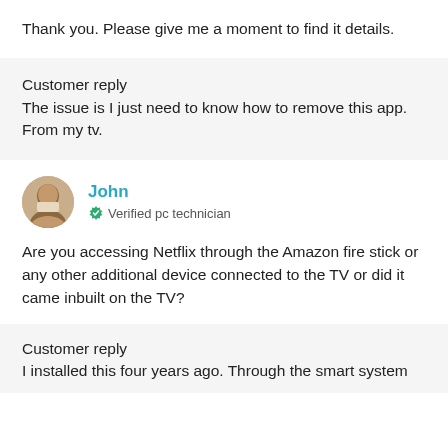Thank you. Please give me a moment to find it details.
Customer reply
The issue is I just need to know how to remove this app. From my tv.
John
Verified pc technician
Are you accessing Netflix through the Amazon fire stick or any other additional device connected to the TV or did it came inbuilt on the TV?
Customer reply
I installed this four years ago. Through the smart system